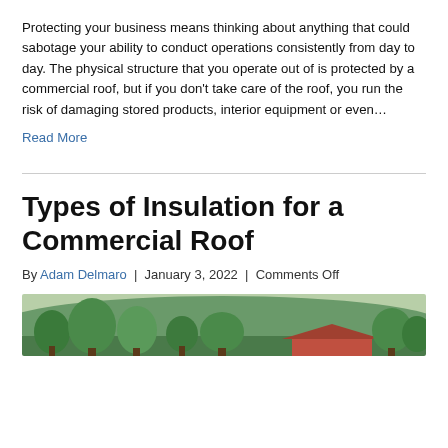Protecting your business means thinking about anything that could sabotage your ability to conduct operations consistently from day to day. The physical structure that you operate out of is protected by a commercial roof, but if you don't take care of the roof, you run the risk of damaging stored products, interior equipment or even...
Read More
Types of Insulation for a Commercial Roof
By Adam Delmaro | January 3, 2022 | Comments Off
[Figure (photo): Outdoor photo showing trees and a building with a commercial roof against a hillside backdrop]